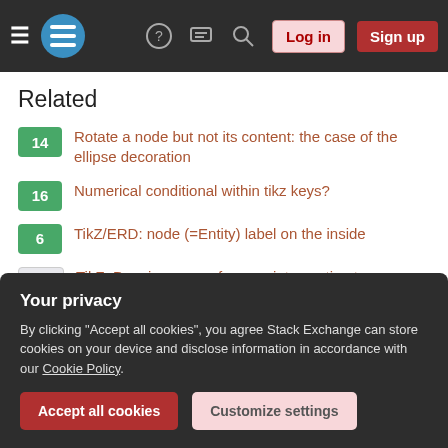Stack Exchange navigation bar with hamburger menu, logo, help, chat, search icons, Log in and Sign up buttons
Related
14  Rotate a node but not its content: the case of the ellipse decoration
16  Numerical conditional within tikz keys?
6  TikZ/ERD: node (=Entity) label on the inside
18  TikZ: Drawing an arc from an intersection to an intersection
9  Line up nested tikz enviroments or how to get rid of them
2  LaTeX Tikz: Compare two \def arguments
Your privacy
By clicking "Accept all cookies", you agree Stack Exchange can store cookies on your device and disclose information in accordance with our Cookie Policy.